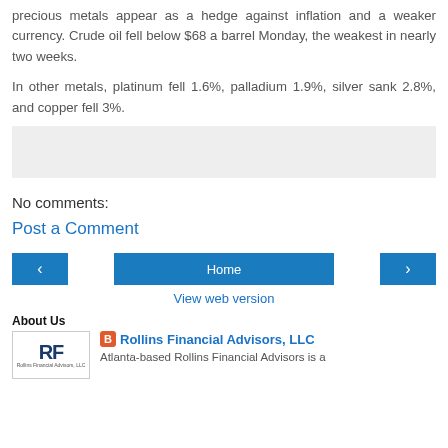precious metals appear as a hedge against inflation and a weaker currency. Crude oil fell below $68 a barrel Monday, the weakest in nearly two weeks.
In other metals, platinum fell 1.6%, palladium 1.9%, silver sank 2.8%, and copper fell 3%.
[Figure (other): Gray placeholder box for an embedded element or advertisement]
No comments:
Post a Comment
Home
View web version
About Us
Rollins Financial Advisors, LLC
Atlanta-based Rollins Financial Advisors is a